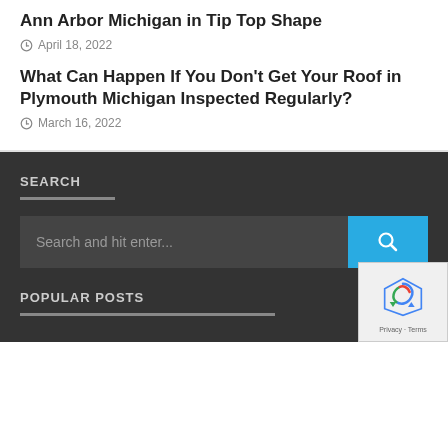Ann Arbor Michigan in Tip Top Shape
April 18, 2022
What Can Happen If You Don't Get Your Roof in Plymouth Michigan Inspected Regularly?
March 16, 2022
SEARCH
Search and hit enter...
POPULAR POSTS